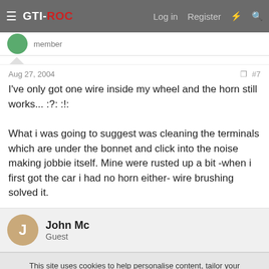GTI-ROC  Log in  Register
member
Aug 27, 2004  #7
I've only got one wire inside my wheel and the horn still works... :?: :!:

What i was going to suggest was cleaning the terminals which are under the bonnet and click into the noise making jobbie itself. Mine were rusted up a bit -when i first got the car i had no horn either- wire brushing solved it.
John Mc
Guest
This site uses cookies to help personalise content, tailor your experience and to keep you logged in if you register.
By continuing to use this site, you are consenting to our use of cookies.